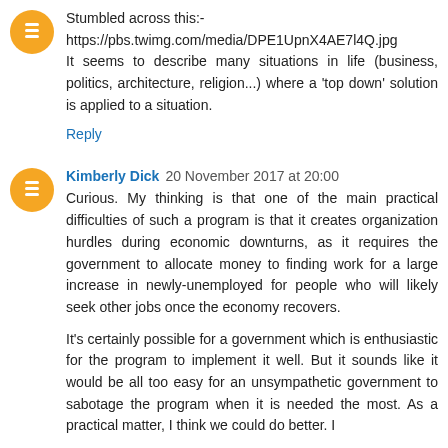Stumbled across this:-
https://pbs.twimg.com/media/DPE1UpnX4AE7l4Q.jpg
It seems to describe many situations in life (business, politics, architecture, religion...) where a 'top down' solution is applied to a situation.
Reply
Kimberly Dick 20 November 2017 at 20:00
Curious. My thinking is that one of the main practical difficulties of such a program is that it creates organization hurdles during economic downturns, as it requires the government to allocate money to finding work for a large increase in newly-unemployed for people who will likely seek other jobs once the economy recovers.
It's certainly possible for a government which is enthusiastic for the program to implement it well. But it sounds like it would be all too easy for an unsympathetic government to sabotage the program when it is needed the most. As a practical matter, I think we could do better. I